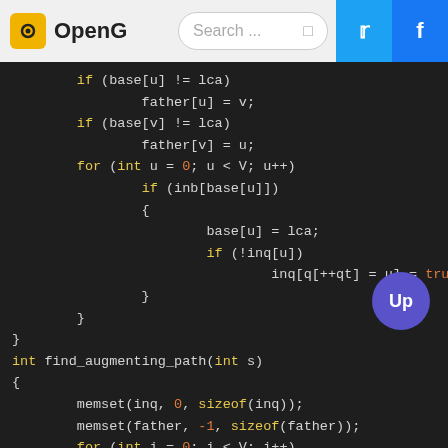OpenG [Search bar] [Twitter] [Facebook]
[Figure (screenshot): Code editor screenshot showing C++ code for a graph algorithm: if/for blocks with base[], father[], inq[], and find_augmenting_path function definition with memset calls.]